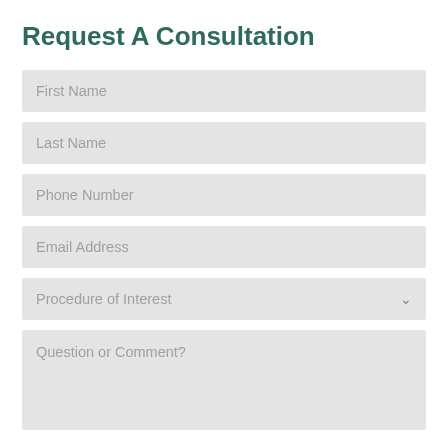Request A Consultation
First Name
Last Name
Phone Number
Email Address
Procedure of Interest
Question or Comment?